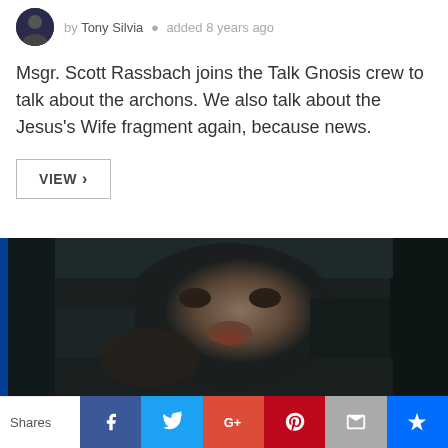by Tony Silvia · added 8 years ago
Msgr. Scott Rassbach joins the Talk Gnosis crew to talk about the archons. We also talk about the Jesus's Wife fragment again, because news.
VIEW >
[Figure (photo): Dark video thumbnail showing a man in a car, looking toward camera, dim interior lighting]
Shares | Facebook | Twitter | Google+ | Pinterest | Email | Stumbleupon